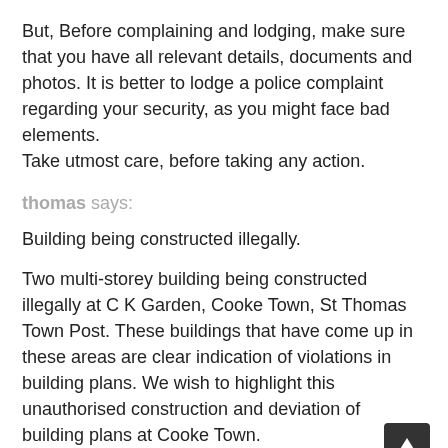But, Before complaining and lodging, make sure that you have all relevant details, documents and photos. It is better to lodge a police complaint regarding your security, as you might face bad elements. Take utmost care, before taking any action.
thomas says:
Building being constructed illegally.
Two multi-storey building being constructed illegally at C K Garden, Cooke Town, St Thomas Town Post. These buildings that have come up in these areas are clear indication of violations in building plans. We wish to highlight this unauthorised construction and deviation of building plans at Cooke Town.
Although complaints to the BBMP officials rendered